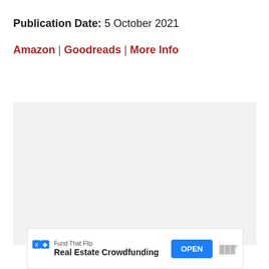Publication Date: 5 October 2021
Amazon | Goodreads | More Info
[Figure (other): Large light gray placeholder box, likely for an image or embedded content]
[Figure (other): Advertisement banner: Fund That Flip - Real Estate Crowdfunding, with OPEN button]